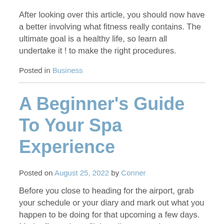After looking over this article, you should now have a better involving what fitness really contains. The ultimate goal is a healthy life, so learn all undertake it ! to make the right procedures.
Posted in Business
A Beginner's Guide To Your Spa Experience
Posted on August 25, 2022 by Conner
Before you close to heading for the airport, grab your schedule or your diary and mark out what you happen to be doing for that upcoming a few days. Mark off meetings, flights, dinner appointments and deadlines. Leave any down- time an empty. Now look to see what